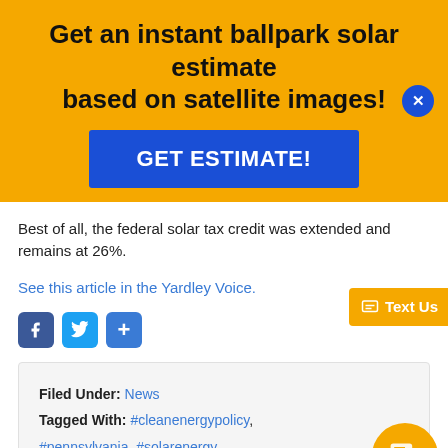Get an instant ballpark solar estimate based on satellite images!
[Figure (screenshot): Blue button with bold white text reading GET ESTIMATE!]
Best of all, the federal solar tax credit was extended and remains at 26%.
See this article in the Yardley Voice.
[Figure (other): Social share icons: Facebook, Twitter, and a plus/share button]
Filed Under: News
Tagged With: #cleanenergypolicy, #pennsylvania, #solarenergy